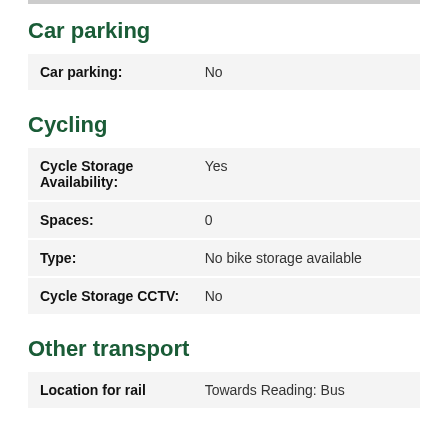Car parking
| Car parking: | No |
Cycling
| Cycle Storage Availability: | Yes |
| Spaces: | 0 |
| Type: | No bike storage available |
| Cycle Storage CCTV: | No |
Other transport
| Location for rail | Towards Reading: Bus |